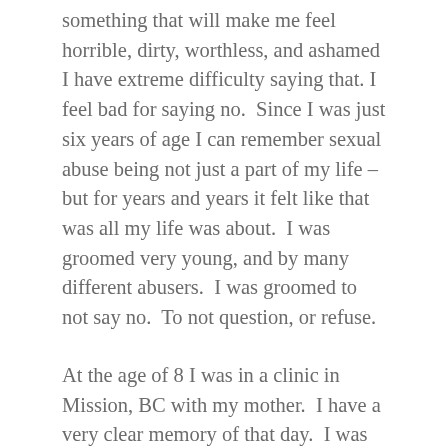something that will make me feel horrible, dirty, worthless, and ashamed I have extreme difficulty saying that. I feel bad for saying no. Since I was just six years of age I can remember sexual abuse being not just a part of my life – but for years and years it felt like that was all my life was about. I was groomed very young, and by many different abusers. I was groomed to not say no. To not question, or refuse.
At the age of 8 I was in a clinic in Mission, BC with my mother. I have a very clear memory of that day. I was getting my first PAP. Most girls would not have a need for a PAP until at least they had started their menstrual period or had become sexually active – and that was for sure not before their teens I would hope. But I was getting one because I had recently